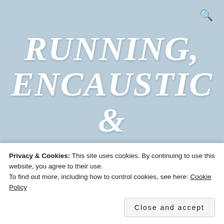RUNNING, ENCAUSTIC & TEACHING
ARTIST/TEACHER WHO IS AN ULTRA RUNNER
Privacy & Cookies: This site uses cookies. By continuing to use this website, you agree to their use. To find out more, including how to control cookies, see here: Cookie Policy
Close and accept